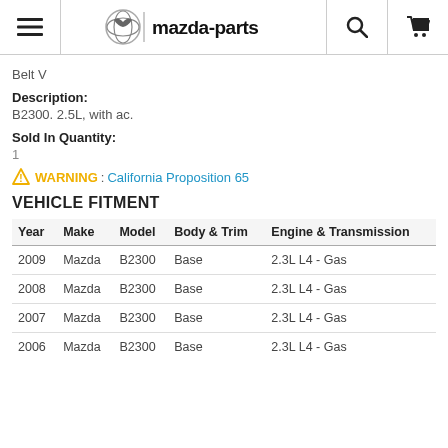mazda-parts
Belt V
Description:
B2300. 2.5L, with ac.
Sold In Quantity:
1
WARNING: California Proposition 65
VEHICLE FITMENT
| Year | Make | Model | Body & Trim | Engine & Transmission |
| --- | --- | --- | --- | --- |
| 2009 | Mazda | B2300 | Base | 2.3L L4 - Gas |
| 2008 | Mazda | B2300 | Base | 2.3L L4 - Gas |
| 2007 | Mazda | B2300 | Base | 2.3L L4 - Gas |
| 2006 | Mazda | B2300 | Base | 2.3L L4 - Gas |